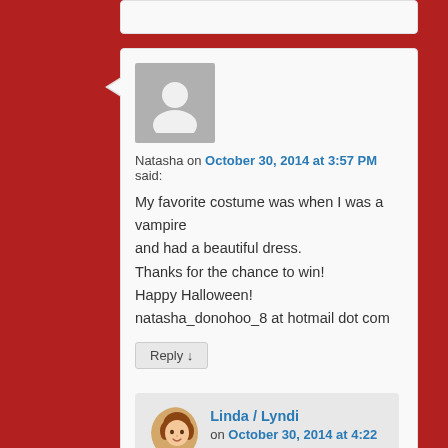Natasha on October 30, 2014 at 3:57 PM said:
My favorite costume was when I was a vampire and had a beautiful dress.
Thanks for the chance to win!
Happy Halloween!
natasha_donohoo_8 at hotmail dot com
Reply ↓
Linda / Lyndi on October 30, 2014 at 4:22 PM said:
That sounds like fun, Natasha. I assume it